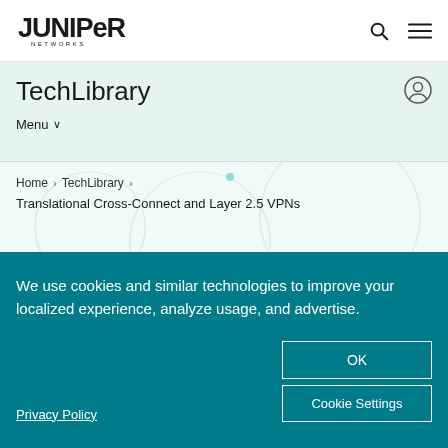[Figure (logo): Juniper Networks logo with stylized text and NETWORKS subtitle]
TechLibrary
Menu ∨
Home › TechLibrary › Translational Cross-Connect and Layer 2.5 VPNs
We use cookies and similar technologies to improve your localized experience, analyze usage, and advertise.
Privacy Policy
OK
Cookie Settings